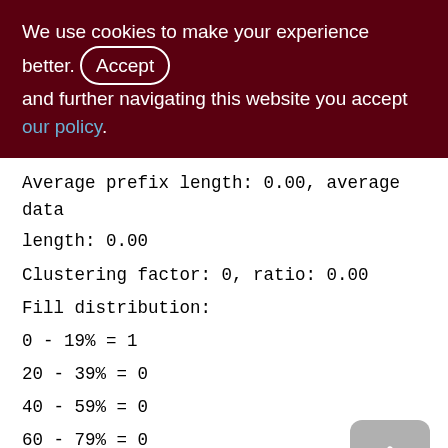We use cookies to make your experience better. By accepting and further navigating this website you accept our policy.
Average prefix length: 0.00, average data length: 0.00
Clustering factor: 0, ratio: 0.00
Fill distribution:
0 - 19% = 1
20 - 39% = 0
40 - 59% = 0
60 - 79% = 0
80 - 99% = 0
Index ZQDISTR_WARE_SNDOP_RCVOP (1)
Root page: 687, depth: 1, leaf buckets: 1,